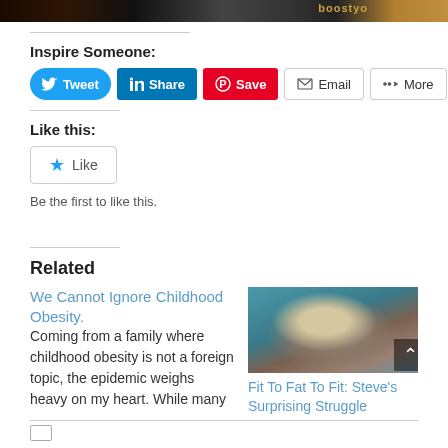[Figure (photo): Dark banner image at top of page, appears to be characters or figures, with golden/orange decorative element on the right]
Inspire Someone:
[Figure (screenshot): Row of social sharing buttons: Tweet (Twitter, blue), Share (LinkedIn, blue), Save (Pinterest, red), Email (grey outline), More (grey outline)]
Like this:
[Figure (screenshot): Like button with blue star icon]
Be the first to like this.
Related
We Cannot Ignore Childhood Obesity. Coming from a family where childhood obesity is not a foreign topic, the epidemic weighs heavy on my heart. While many
[Figure (photo): Photo of a man hunched over at a restaurant table, appears to be eating]
Fit To Fat To Fit: Steve's Surprising Struggle